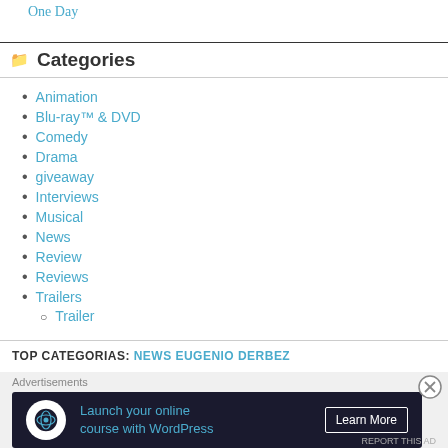One Day
Categories
Animation
Blu-ray™ & DVD
Comedy
Drama
giveaway
Interviews
Musical
News
Review
Reviews
Trailers
Trailer
TOP CATEGORIAS: NEWS EUGENIO DERBEZ
[Figure (other): Advertisement banner: Launch your online course with WordPress – Learn More button]